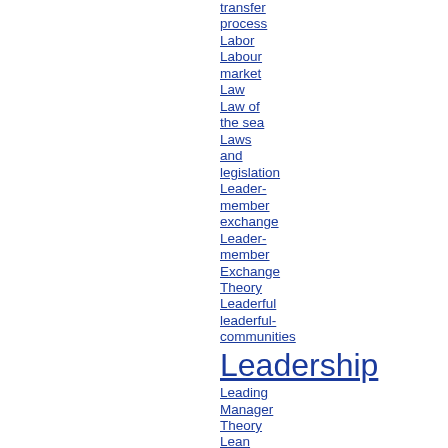transfer process
Labor
Labour market
Law
Law of the sea
Laws and legislation
Leader-member exchange
Leader-member Exchange Theory
Leaderful
leaderful-communities
Leadership
Leading Manager Theory
Lean healthcare
Lean